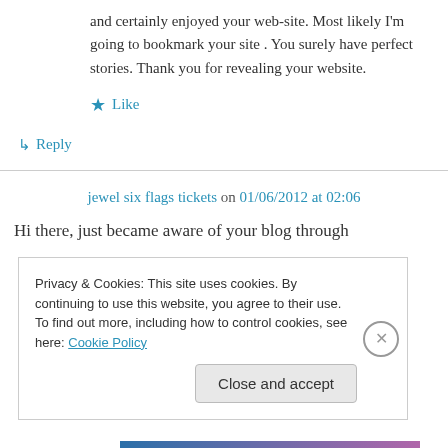and certainly enjoyed your web-site. Most likely I'm going to bookmark your site . You surely have perfect stories. Thank you for revealing your website.
★ Like
↳ Reply
jewel six flags tickets on 01/06/2012 at 02:06
Hi there, just became aware of your blog through
Privacy & Cookies: This site uses cookies. By continuing to use this website, you agree to their use.
To find out more, including how to control cookies, see here: Cookie Policy
Close and accept